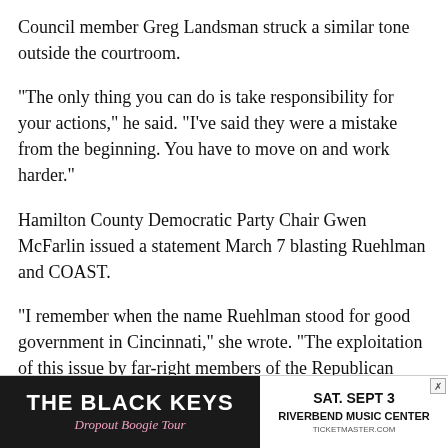Council member Greg Landsman struck a similar tone outside the courtroom.
"The only thing you can do is take responsibility for your actions," he said. "I've said they were a mistake from the beginning. You have to move on and work harder."
Hamilton County Democratic Party Chair Gwen McFarlin issued a statement March 7 blasting Ruehlman and COAST.
"I remember when the name Ruehlman stood for good government in Cincinnati," she wrote. "The exploitation of this issue by far-right members of the Republican Party – from Councilman Christopher Smitherman to prominent members of COAST – is divisive politics at its worst."
[Figure (infographic): Advertisement banner for The Black Keys Dropout Boogie Tour, SAT. SEPT 3, Riverbend Music Center, ticketmaster.com]